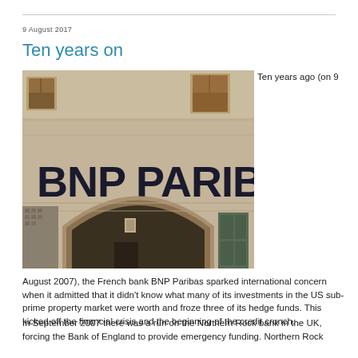9 August 2017
Ten years on
[Figure (photo): Photograph of a BNP Paribas bank branch building showing the BNP PARIBAS sign on a stone facade with an arched entrance]
Ten years ago (on 9 August 2007), the French bank BNP Paribas sparked international concern when it admitted that it didn't know what many of its investments in the US sub-prime property market were worth and froze three of its hedge funds. This kicked off the financial crisis and the beginning of the credit crunch.
In September 2007 there was a run on the Northern Rock bank in the UK, forcing the Bank of England to provide emergency funding. Northern Rock